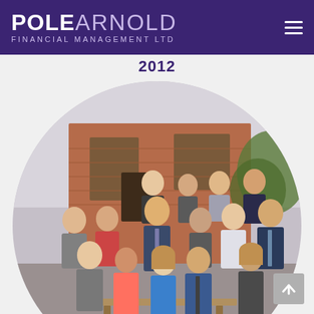POLE ARNOLD FINANCIAL MANAGEMENT LTD
2012
[Figure (photo): Group photo of approximately 18 staff members from Pole Arnold Financial Management Ltd, posed in front of a red brick building. People are arranged in three rows — some seated on a bench in front, some standing in middle and back rows. The photo is displayed in a circular (round) crop.]